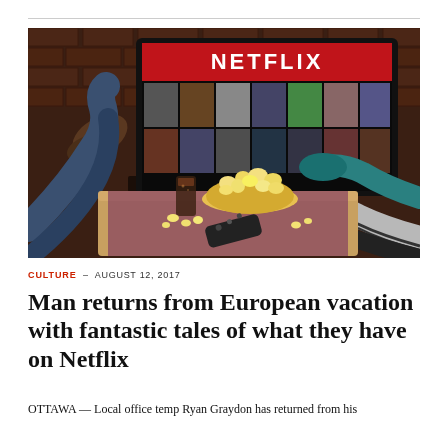[Figure (photo): Two people lying on a couch with feet up on a coffee table, watching Netflix on a large TV. A bowl of popcorn, a drink, and a remote control are on the table. The room has a brick wall background.]
CULTURE – AUGUST 12, 2017
Man returns from European vacation with fantastic tales of what they have on Netflix
OTTAWA — Local office temp Ryan Graydon has returned from his